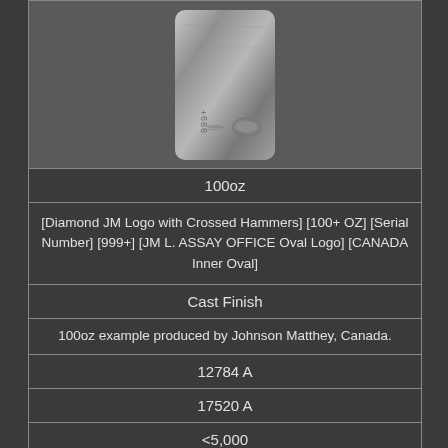[Figure (photo): Photo of a silver bar (100oz) with cast finish, showing stamped marks including 999+ and an oval assay office logo]
100oz
[Diamond JM Logo with Crossed Hammers] [100+ OZ] [Serial Number] [999+] [JM L. ASSAY OFFICE Oval Logo] [CANADA Inner Oval]
Cast Finish
100oz example produced by Johnson Matthey, Canada.
12784 A
17520 A
<5,000
[Figure (photo): Photo of the JM (Johnson Matthey) diamond logo stamp on silver bar]